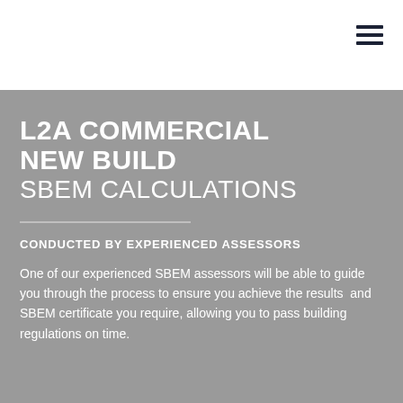[Figure (other): Hamburger menu icon (three horizontal lines) in top-right corner of white navigation bar]
L2A COMMERCIAL NEW BUILD SBEM CALCULATIONS
CONDUCTED BY EXPERIENCED ASSESSORS
One of our experienced SBEM assessors will be able to guide you through the process to ensure you achieve the results and SBEM certificate you require, allowing you to pass building regulations on time.